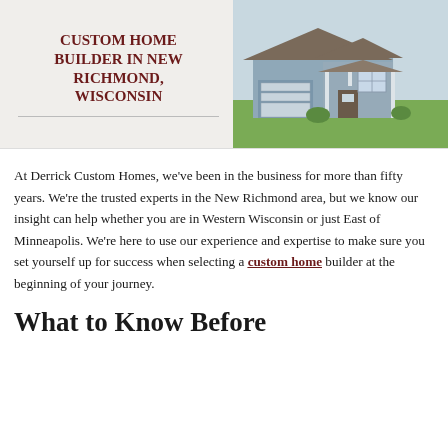CUSTOM HOME BUILDER IN NEW RICHMOND, WISCONSIN
[Figure (photo): Exterior photo of a custom home with blue-grey siding, white trim, attached garage, front porch, and green lawn]
At Derrick Custom Homes, we’ve been in the business for more than fifty years.  We’re the trusted experts in the New Richmond area, but we know our insight can help whether you are in Western Wisconsin or just East of Minneapolis.  We’re here to use our experience and expertise to make sure you set yourself up for success when selecting a custom home builder at the beginning of your journey.
What to Know Before